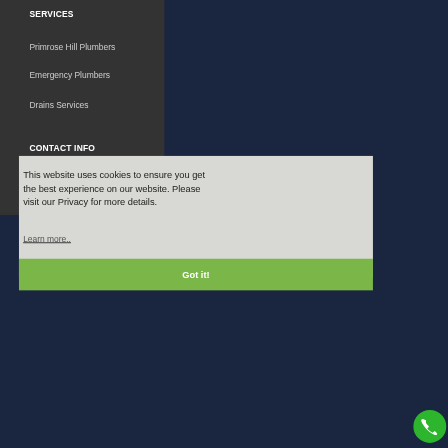SERVICES
Primrose Hill Plumbers
Emergency Plumbers
Drains Services
CONTACT INFO
This website uses cookies to ensure you get the best experience on our website. Please visit our Privacy for more details.
Learn more..
Got it!